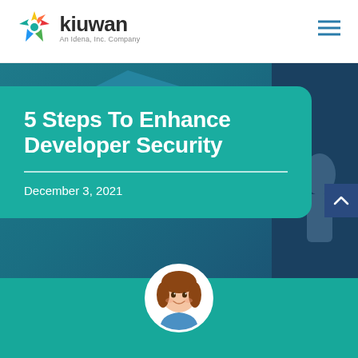[Figure (logo): Kiuwan logo — colorful asterisk/cross icon followed by bold 'kiuwan' text and 'An Idena, Inc. Company' tagline]
[Figure (other): Hamburger menu icon (three horizontal lines) in teal/blue color in top-right corner]
[Figure (illustration): Hero background with dark blue geometric shapes and a person figure on the right side]
5 Steps To Enhance Developer Security
December 3, 2021
[Figure (illustration): Circular avatar of a female character with brown hair, smiling — partially visible at bottom of page]